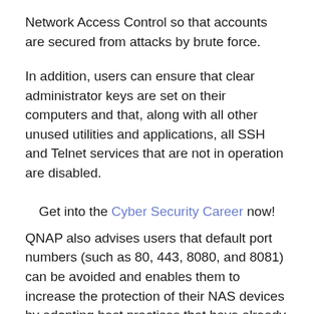Network Access Control so that accounts are secured from attacks by brute force.
In addition, users can ensure that clear administrator keys are set on their computers and that, along with all other unused utilities and applications, all SSH and Telnet services that are not in operation are disabled.
Get into the Cyber Security Career now!
QNAP also advises users that default port numbers (such as 80, 443, 8080, and 8081) can be avoided and enables them to increase the protection of their NAS devices by adopting best practises that have already been detailed by the organisation.
These activities will further boost the security of the NAS and make it more difficult for dovecat to access the